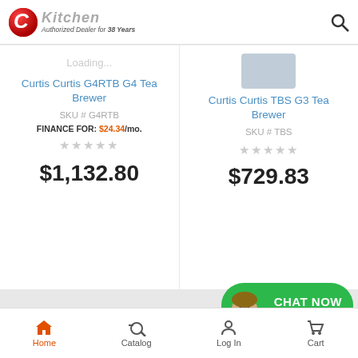CKitchen — Authorized Dealer for 38 Years
Loading...
Curtis Curtis G4RTB G4 Tea Brewer
SKU # G4RTB
FINANCE FOR: $24.34/mo.
$1,132.80
[Figure (photo): Product image of Curtis TBS G3 Tea Brewer, small rectangular appliance]
Curtis Curtis TBS G3 Tea Brewer
SKU # TBS
$729.83
[Figure (photo): Chat Now with Damon widget - green rounded button with photo of smiling man]
1 (800) 555-0666
Home | Catalog | Log In | Cart